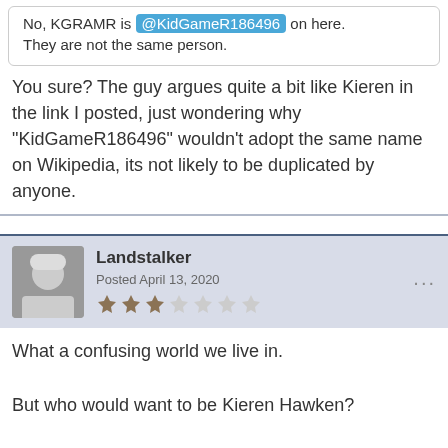No, KGRAMR is @KidGameR186496 on here. They are not the same person.
You sure?  The guy argues quite a bit like Kieren in the link I posted, just wondering why "KidGameR186496" wouldn't adopt the same name on Wikipedia, its not likely to be duplicated by anyone.
Landstalker
Posted April 13, 2020
What a confusing world we live in.

But who would want to be Kieren Hawken?